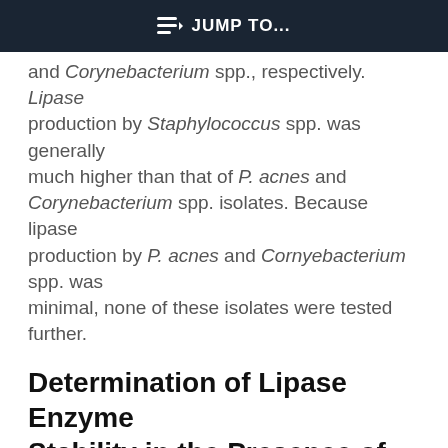JUMP TO...
and Corynebacterium spp., respectively. Lipase production by Staphylococcus spp. was generally much higher than that of P. acnes and Corynebacterium spp. isolates. Because lipase production by P. acnes and Cornyebacterium spp. was minimal, none of these isolates were tested further.
Determination of Lipase Enzyme Stability in the Presence of GML
We sought to determine the mode of action of GML: whether inhibition of lipase production or inhibition
released lipase from overnight cultures (S. aureus
This site uses cookies. By continuing to use our website, you are agreeing to our privacy policy. Accept